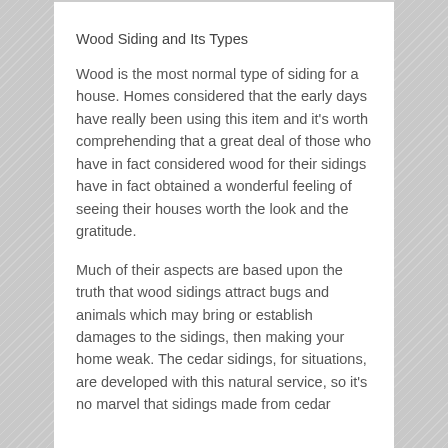Wood Siding and Its Types
Wood is the most normal type of siding for a house. Homes considered that the early days have really been using this item and it's worth comprehending that a great deal of those who have in fact considered wood for their sidings have in fact obtained a wonderful feeling of seeing their houses worth the look and the gratitude.
Much of their aspects are based upon the truth that wood sidings attract bugs and animals which may bring or establish damages to the sidings, then making your home weak. The cedar sidings, for situations, are developed with this natural service, so it's no marvel that sidings made from cedar wood are more effective and…